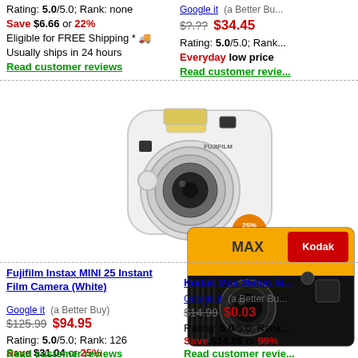Rating: 5.0/5.0; Rank: none
Save $6.66 or 22%
Eligible for FREE Shipping * 🚚
Usually ships in 24 hours
Read customer reviews
Google it   (a Better Bu...
$?.??  $34.45
Rating: 5.0/5.0; Rank...
Everyday low price
Read customer revie...
[Figure (photo): Fujifilm Instax MINI 25 Instant Film Camera in white with 25% off badge]
Fujifilm Instax MINI 25 Instant Film Camera (White)
Google it   (a Better Buy)
$125.99  $94.95
Rating: 5.0/5.0; Rank: 126
Save $31.04 or 25%
Read customer reviews
[Figure (photo): Kodak Max 35mm Single-use camera]
Kodak Max 35mm Si...
Google it   (a Better Bu...
$14.99  $0.03
Rating: 5.0/5.0; Rank...
Save $14.96 or 99%
Read customer revie...